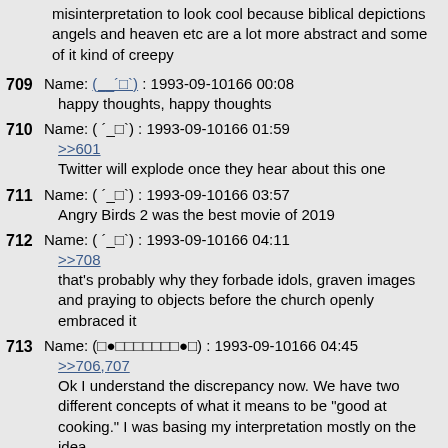misinterpretation to look cool because biblical depictions angels and heaven etc are a lot more abstract and some of it kind of creepy
709  Name: (__´□`) : 1993-09-10166 00:08
happy thoughts, happy thoughts
710  Name: ( ´_□`) : 1993-09-10166 01:59
>>601
Twitter will explode once they hear about this one
711  Name: ( ´_□`) : 1993-09-10166 03:57
Angry Birds 2 was the best movie of 2019
712  Name: ( ´_□`) : 1993-09-10166 04:11
>>708
that's probably why they forbade idols, graven images and praying to objects before the church openly embraced it
713  Name: (□●□□□□□□□●□) : 1993-09-10166 04:45
>>706,707
Ok I understand the discrepancy now. We have two different concepts of what it means to be "good at cooking." I was basing my interpretation mostly on the idea